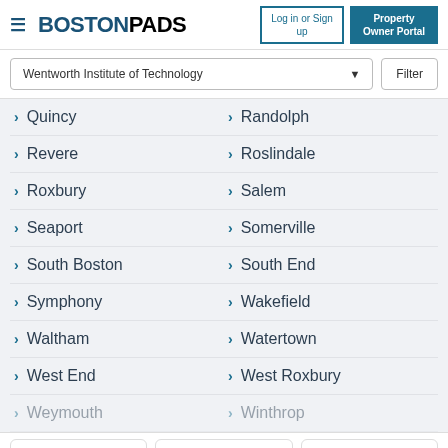BOSTONPADS — Log in or Sign up | Property Owner Portal
Wentworth Institute of Technology | Filter
Quincy
Randolph
Revere
Roslindale
Roxbury
Salem
Seaport
Somerville
South Boston
South End
Symphony
Wakefield
Waltham
Watertown
West End
West Roxbury
Weymouth
Winthrop
View Map | Save Search | Sort